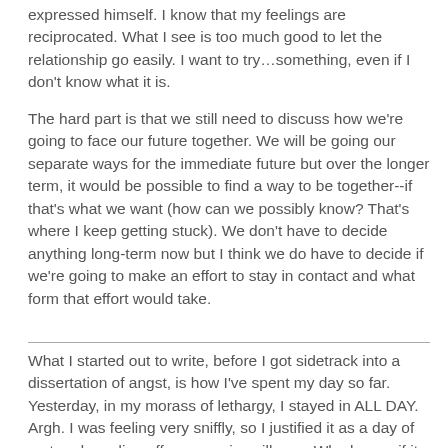expressed himself. I know that my feelings are reciprocated. What I see is too much good to let the relationship go easily. I want to try…something, even if I don't know what it is.
The hard part is that we still need to discuss how we're going to face our future together. We will be going our separate ways for the immediate future but over the longer term, it would be possible to find a way to be together--if that's what we want (how can we possibly know? That's where I keep getting stuck). We don't have to decide anything long-term now but I think we do have to decide if we're going to make an effort to stay in contact and what form that effort would take.
What I started out to write, before I got sidetrack into a dissertation of angst, is how I've spent my day so far. Yesterday, in my morass of lethargy, I stayed in ALL DAY. Argh. I was feeling very sniffly, so I justified it as a day of rest and warding off more serious illness. Who knows if it had that effect? I managed to write two paragraphs on the novel